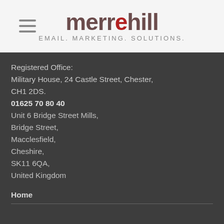[Figure (logo): Merrehill logo with hamburger menu icon. Logo text reads 'merrehill' with a red 'e', and tagline 'EMAIL. MARKETING. SOLUTIONS.']
Registered Office:
Military House, 24 Castle Street, Chester, CH1 2DS.
01625 70 80 40
Unit 6 Bridge Street Mills,
Bridge Street,
Macclesfield,
Cheshire,
SK11 6QA,
United Kingdom
Home